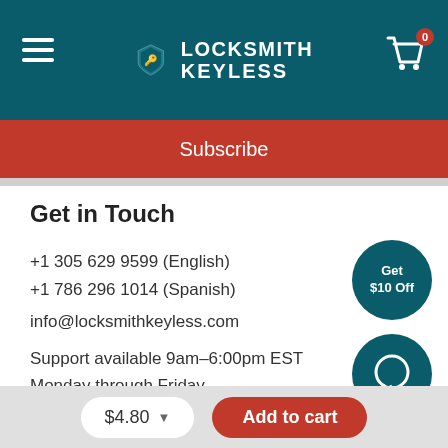[Figure (logo): Locksmith Keyless logo with shield icon, white text on dark teal header background, hamburger menu on left, cart with 0 badge on right]
Subscribe
Get in Touch
+1 305 629 9599 (English)
+1 786 296 1014 (Spanish)
info@locksmithkeyless.com
Support available 9am–6:00pm EST
Monday through Friday
3555 NW 79TH AVE MIAMI, FL 33122
$4.80
Add to cart